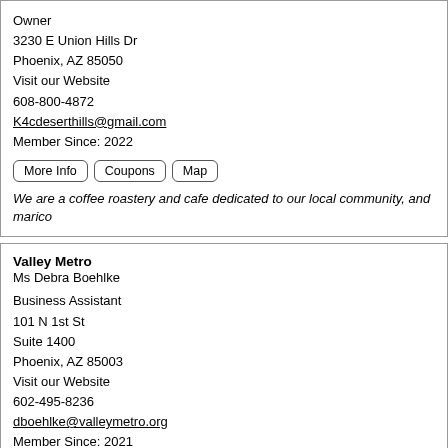Owner
3230 E Union Hills Dr
Phoenix, AZ 85050
Visit our Website
608-800-4872
K4cdeserthills@gmail.com
Member Since: 2022
Buttons: More Info | Coupons | Map
We are a coffee roastery and cafe dedicated to our local community, and marico
Valley Metro
Ms Debra Boehlke
Business Assistant
101 N 1st St
Suite 1400
Phoenix, AZ 85003
Visit our Website
602-495-8236
dboehlke@valleymetro.org
Member Since: 2021
Buttons: More Info | Map
PoolWerx Union Hills
Bobbi Howard